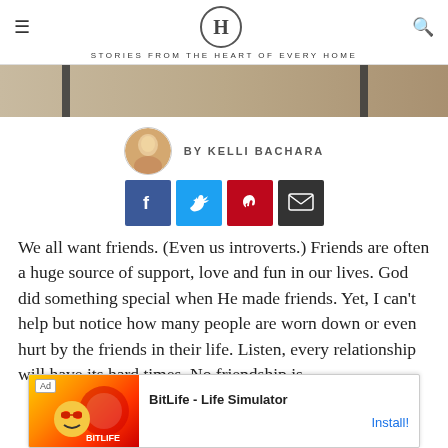H — STORIES FROM THE HEART OF EVERY HOME
[Figure (photo): Cropped hero image showing sandy ground with two dark posts/poles visible at top]
BY KELLI BACHARA
[Figure (infographic): Social share buttons: Facebook (blue), Twitter (light blue), Pinterest (red), Email (dark/black)]
We all want friends. (Even us introverts.) Friends are often a huge source of support, love and fun in our lives. God did something special when He made friends. Yet, I can't help but notice how many people are worn down or even hurt by the friends in their life. Listen, every relationship will have its hard times. No friendship is perfect [obscured by ad]. But there is a difference between disagreements and
[Figure (screenshot): Ad banner: BitLife - Life Simulator with Install! button]